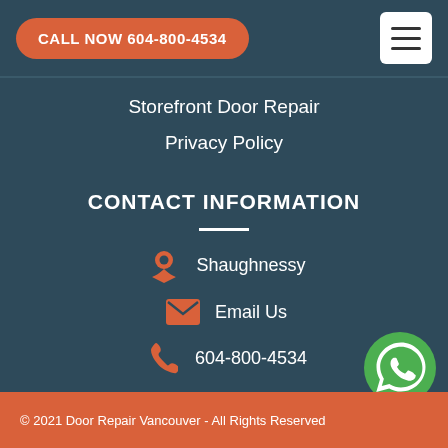CALL NOW 604-800-4534
Storefront Door Repair
Privacy Policy
CONTACT INFORMATION
Shaughnessy
Email Us
604-800-4534
© 2021 Door Repair Vancouver - All Rights Reserved